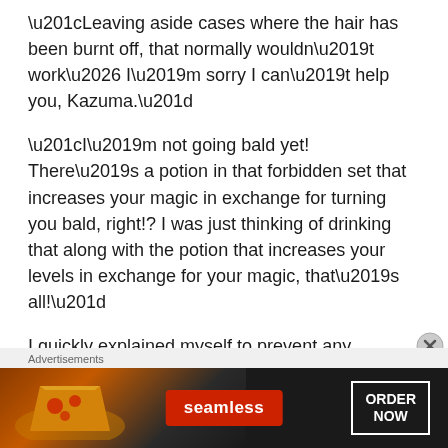“Leaving aside cases where the hair has been burnt off, that normally wouldn’t work… I’m sorry I can’t help you, Kazuma.”
“I’m not going bald yet! There’s a potion in that forbidden set that increases your magic in exchange for turning you bald, right!? I was just thinking of drinking that along with the potion that increases your levels in exchange for your magic, that’s all!”
I quickly explained myself to prevent any misunderstandings, but…
“There isn’t one.”
“… Huh? What do you mean?”
Advertisements
[Figure (photo): Seamless food delivery advertisement showing pizza with Seamless logo and ORDER NOW button]